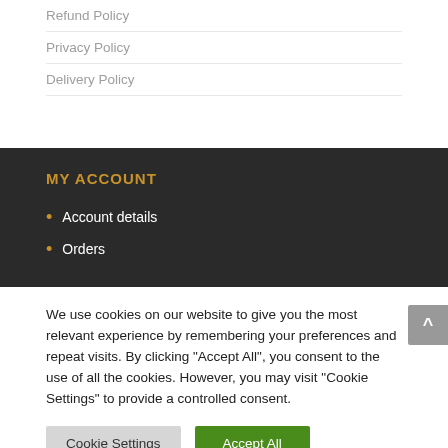Refund Policy
Privacy Policy
Delivery Policy
MY ACCOUNT
Account details
Orders
We use cookies on our website to give you the most relevant experience by remembering your preferences and repeat visits. By clicking "Accept All", you consent to the use of all the cookies. However, you may visit "Cookie Settings" to provide a controlled consent.
Cookie Settings
Accept All